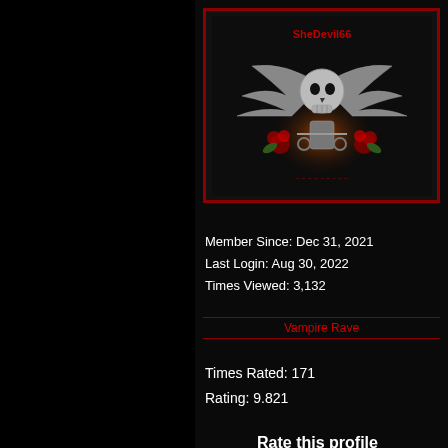[Figure (illustration): Profile image: skull with wings, motorcycle, red roses, dark background, with 'SheDevil66' text overlay]
Member Since: Dec 31, 2021
Last Login: Aug 30, 2022
Times Viewed: 3,132
Vampire Rave
Times Rated: 171
Rating: 9.821
Rate this profile